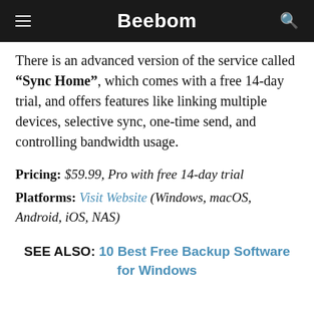Beebom
There is an advanced version of the service called “Sync Home”, which comes with a free 14-day trial, and offers features like linking multiple devices, selective sync, one-time send, and controlling bandwidth usage.
Pricing: $59.99, Pro with free 14-day trial
Platforms: Visit Website (Windows, macOS, Android, iOS, NAS)
SEE ALSO: 10 Best Free Backup Software for Windows